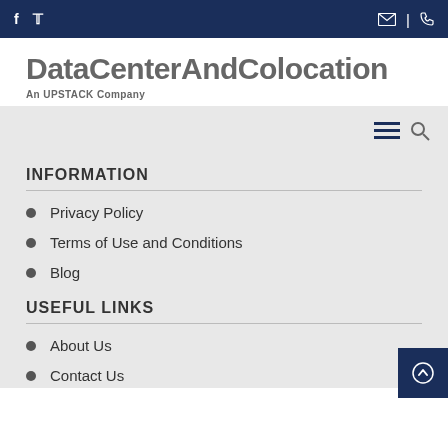f  (twitter icon)  (email icon) | (phone icon)
DataCenterAndColocation
An UPSTACK Company
[Figure (other): Navigation bar with hamburger menu and search icon]
INFORMATION
Privacy Policy
Terms of Use and Conditions
Blog
USEFUL LINKS
About Us
Contact Us